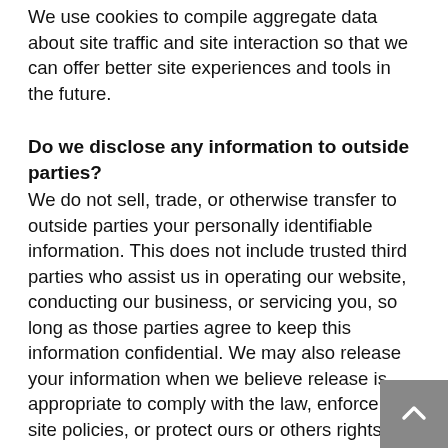We use cookies to compile aggregate data about site traffic and site interaction so that we can offer better site experiences and tools in the future.
Do we disclose any information to outside parties?
We do not sell, trade, or otherwise transfer to outside parties your personally identifiable information. This does not include trusted third parties who assist us in operating our website, conducting our business, or servicing you, so long as those parties agree to keep this information confidential. We may also release your information when we believe release is appropriate to comply with the law, enforce our site policies, or protect ours or others rights, property, or safety. However, non-personally identifiable visitor information may be provided